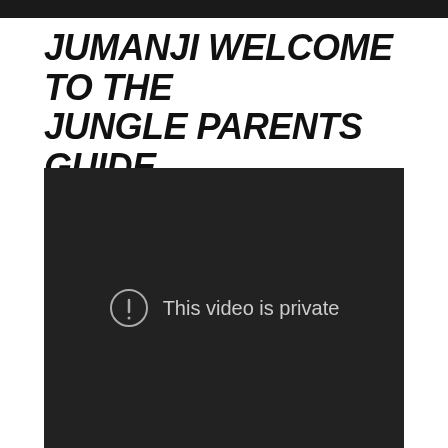JUMANJI WELCOME TO THE JUNGLE PARENTS GUIDE
Last Updated: Friday, July 10, 2020
[Figure (screenshot): Dark video player showing 'This video is private' message with an exclamation mark icon in a circle]